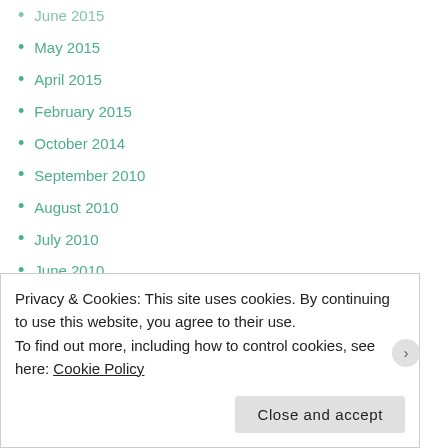June 2015
May 2015
April 2015
February 2015
October 2014
September 2010
August 2010
July 2010
June 2010
May 2010
April 2010
March 2010
February 2010
December 2009
November 2009
October 2009
August 2009
June 2009
Privacy & Cookies: This site uses cookies. By continuing to use this website, you agree to their use. To find out more, including how to control cookies, see here: Cookie Policy
Close and accept